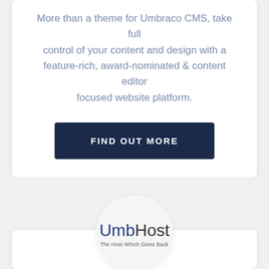More than a theme for Umbraco CMS, take full control of your content and design with a feature-rich, award-nominated & content editor focused website platform.
[Figure (other): Dark navy blue button with white uppercase text reading 'FIND OUT MORE']
[Figure (logo): UmbHost logo — circular light grey background with 'Umb' in blue and 'Host' in dark grey, tagline 'The Host Which Gives Back']
UmbHost